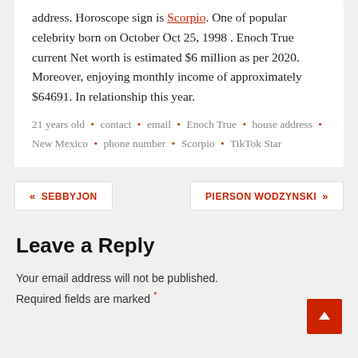address. Horoscope sign is Scorpio. One of popular celebrity born on October Oct 25, 1998 . Enoch True current Net worth is estimated $6 million as per 2020. Moreover, enjoying monthly income of approximately $64691. In relationship this year.
21 years old • contact • email • Enoch True • house address • New Mexico • phone number • Scorpio • TikTok Star
« SEBBYJON
PIERSON WODZYNSKI »
Leave a Reply
Your email address will not be published. Required fields are marked *